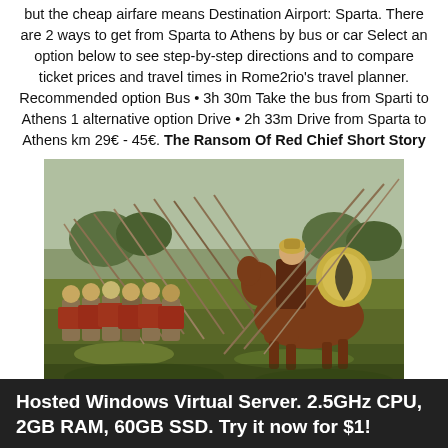but the cheap airfare means Destination Airport: Sparta. There are 2 ways to get from Sparta to Athens by bus or car Select an option below to see step-by-step directions and to compare ticket prices and travel times in Rome2rio's travel planner. Recommended option Bus • 3h 30m Take the bus from Sparti to Athens 1 alternative option Drive • 2h 33m Drive from Sparta to Athens km 29€ - 45€. The Ransom Of Red Chief Short Story
[Figure (illustration): A video game screenshot depicting ancient Greek or Roman warriors in battle formation, holding spears and shields, with a mounted soldier on horseback in the foreground. The scene shows soldiers in bronze armor and helmets in a grassy field with trees in the background.]
Hosted Windows Virtual Server. 2.5GHz CPU, 2GB RAM, 60GB SSD. Try it now for $1!